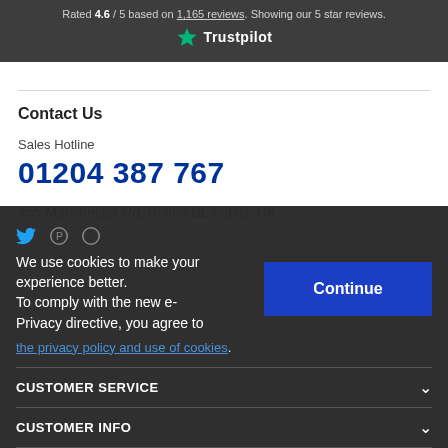Rated 4.6 / 5 based on 1,165 reviews. Showing our 5 star reviews.
[Figure (logo): Trustpilot logo with green star]
Contact Us
Sales Hotline
01204 387 767
455 Manchester Rd, Bolton BL3 2RG, UK
We use cookies to make your experience better. To comply with the new e-Privacy directive, you agree to the privacy policy and use of cookies.
Continue
CUSTOMER SERVICE
CUSTOMER INFO